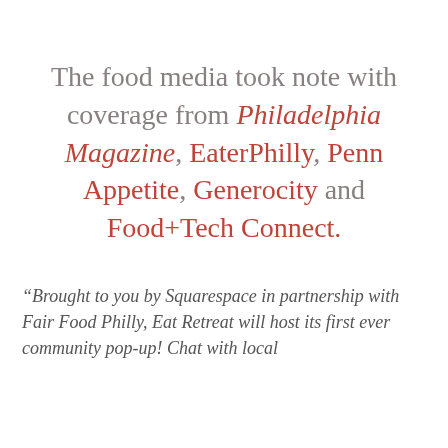The food media took note with coverage from Philadelphia Magazine, EaterPhilly, Penn Appetite, Generocity and Food+Tech Connect.
“Brought to you by Squarespace in partnership with Fair Food Philly, Eat Retreat will host its first ever community pop-up! Chat with local